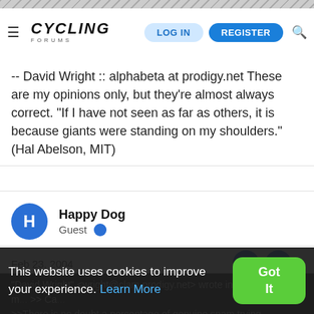Cycling Forums — LOG IN | REGISTER
-- David Wright :: alphabeta at prodigy.net These are my opinions only, but they're almost always correct. "If I have not seen as far as others, it is because giants were standing on my shoulders." (Hal Abelson, MIT)
Happy Dog
Guest
Feb 23, 2004
"David Wright" <wright@clam.prodigy.net> wrote in m... >> Ca... >>There is no doubt a percentage of genuine spam trying
This website uses cookies to improve your experience. Learn More  Got It